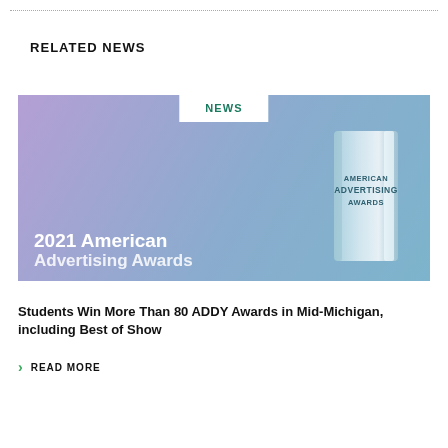RELATED NEWS
[Figure (photo): 2021 American Advertising Awards promotional image with a glass trophy and gradient purple-blue background, with a white NEWS tab at top center]
Students Win More Than 80 ADDY Awards in Mid-Michigan, including Best of Show
READ MORE